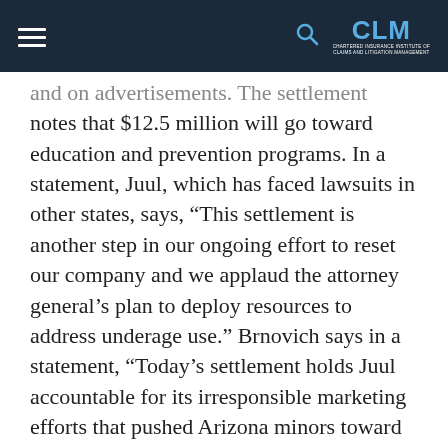CLM
and on advertisements. The settlement notes that $12.5 million will go toward education and prevention programs. In a statement, Juul, which has faced lawsuits in other states, says, “This settlement is another step in our ongoing effort to reset our company and we applaud the attorney general’s plan to deploy resources to address underage use.” Brnovich says in a statement, “Today’s settlement holds Juul accountable for its irresponsible marketing efforts that pushed Arizona minors toward nicotine and the addiction that follows.” —From Senior Managing Editor Phil Gusman
Washington, D.C.